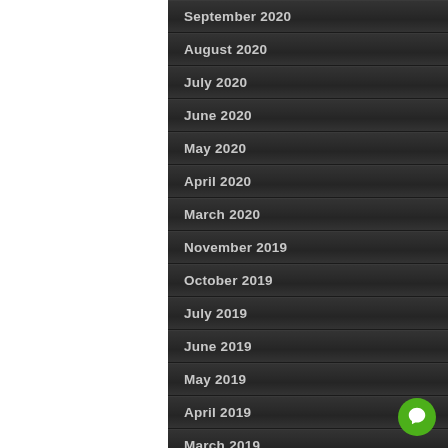September 2020
August 2020
July 2020
June 2020
May 2020
April 2020
March 2020
November 2019
October 2019
July 2019
June 2019
May 2019
April 2019
March 2019